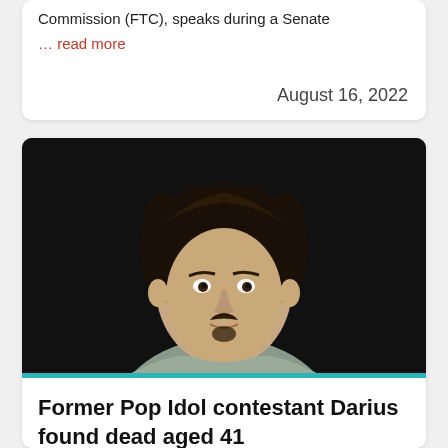Commission (FTC), speaks during a Senate
… read more
August 16, 2022
[Figure (photo): Head and shoulders photo of a young man with dark slicked-back hair and a goatee, wearing a light grey t-shirt, against a dark background.]
Former Pop Idol contestant Darius found dead aged 41